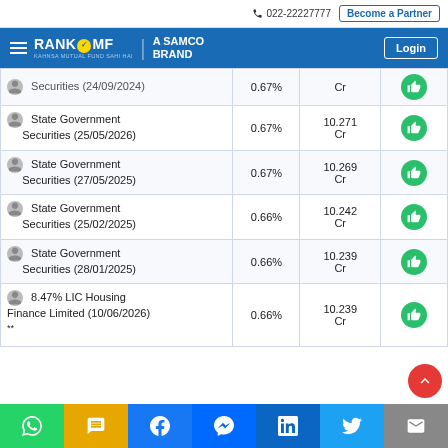022-22227777 | Become a Partner | Login | RANKMF - A SAMCO BRAND
| Security | Allocation % | Value | Action |
| --- | --- | --- | --- |
| State Government Securities (24/09/2024) | 0.67% | Cr |  |
| State Government Securities (25/05/2026) | 0.67% | 10.271 Cr |  |
| State Government Securities (27/05/2025) | 0.67% | 10.269 Cr |  |
| State Government Securities (25/02/2025) | 0.66% | 10.242 Cr |  |
| State Government Securities (28/01/2025) | 0.66% | 10.239 Cr |  |
| 8.47% LIC Housing Finance Limited (10/06/2026) ** | 0.66% | 10.239 Cr |  |
WhatsApp | SMS | Facebook | Messenger | LinkedIn | Twitter | Email